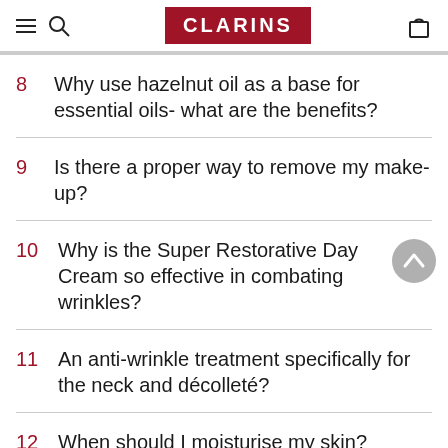CLARINS
8  Why use hazelnut oil as a base for essential oils- what are the benefits?
9  Is there a proper way to remove my make-up?
10  Why is the Super Restorative Day Cream so effective in combating wrinkles?
11  An anti-wrinkle treatment specifically for the neck and décolleté?
12  When should I moisturise my skin?